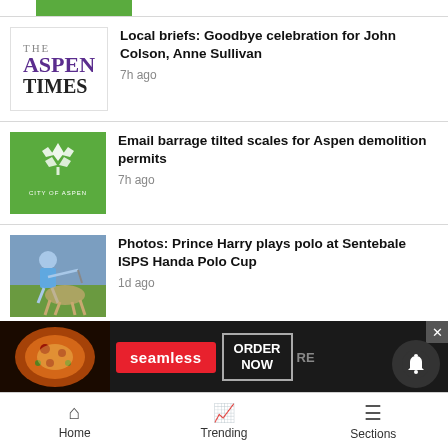[Figure (logo): Green rectangular block at top]
Local briefs: Goodbye celebration for John Colson, Anne Sullivan — 7h ago
Email barrage tilted scales for Aspen demolition permits — 7h ago
Photos: Prince Harry plays polo at Sentebale ISPS Handa Polo Cup — 1d ago
[Figure (infographic): Seamless food delivery advertisement banner with pizza image, Seamless red button, and ORDER NOW button]
Home   Trending   Sections